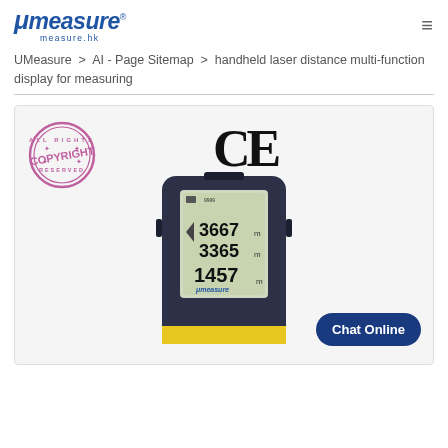[Figure (logo): UMeasure brand logo with italic stylized text and measure.hk subtitle, blue color]
UMeasure  >  AI - Page Sitemap  >  handheld laser distance multi-function display for measuring
[Figure (photo): Handheld laser distance meter device showing LCD display with readings 3667 m, 3365 m, 1457 m. Device has dark blue/grey body with yellow accent at bottom. UMeasure branding. CE certification mark shown above. Copyright watermark stamp in top left corner. Chat Online button in bottom right.]